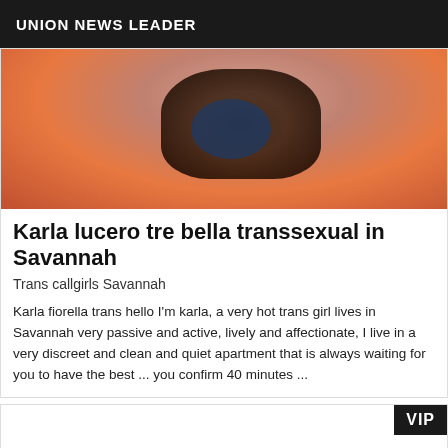UNION NEWS LEADER
[Figure (photo): Close-up photo showing stockings and orange background]
Karla lucero tre bella transsexual in Savannah
Trans callgirls Savannah
Karla fiorella trans hello I'm karla, a very hot trans girl lives in Savannah very passive and active, lively and affectionate, I live in a very discreet and clean and quiet apartment that is always waiting for you to have the best ... you confirm 40 minutes ...
[Figure (other): Second card with VIP badge, content area empty/white]